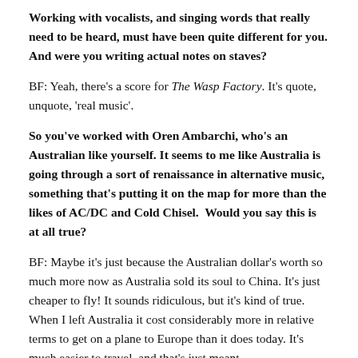Working with vocalists, and singing words that really need to be heard, must have been quite different for you. And were you writing actual notes on staves?
BF: Yeah, there's a score for The Wasp Factory. It's quote, unquote, 'real music'.
So you've worked with Oren Ambarchi, who's an Australian like yourself. It seems to me like Australia is going through a sort of renaissance in alternative music, something that's putting it on the map for more than the likes of AC/DC and Cold Chisel.  Would you say this is at all true?
BF: Maybe it's just because the Australian dollar's worth so much more now as Australia sold its soul to China. It's just cheaper to fly! It sounds ridiculous, but it's kind of true. When I left Australia it cost considerably more in relative terms to get on a plane to Europe than it does today. It's much easier to travel, and that's just meant